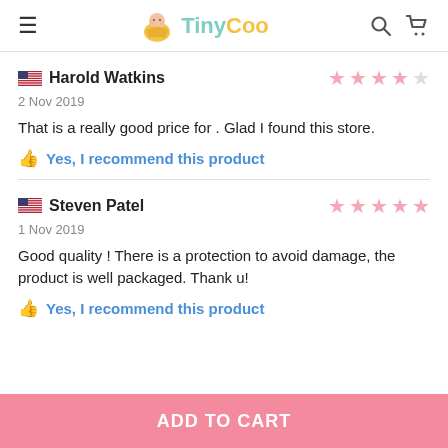TinyCoo
Harold Watkins — 4 stars — 2 Nov 2019 — That is a really good price for . Glad I found this store. — Yes, I recommend this product
Steven Patel — 5 stars — 1 Nov 2019 — Good quality ! There is a protection to avoid damage, the product is well packaged. Thank u! — Yes, I recommend this product
ADD TO CART